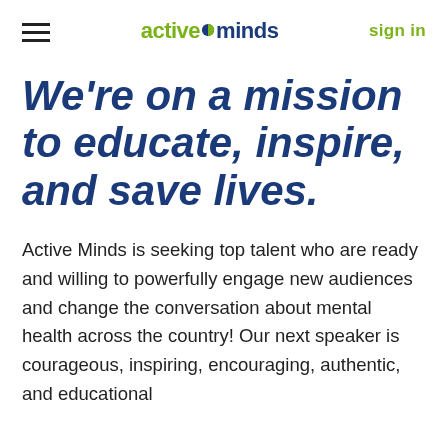active minds | sign in
We're on a mission to educate, inspire, and save lives.
Active Minds is seeking top talent who are ready and willing to powerfully engage new audiences and change the conversation about mental health across the country! Our next speaker is courageous, inspiring, encouraging, authentic, and educational